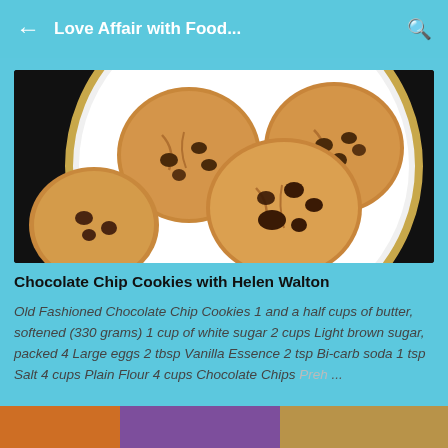← Love Affair with Food... 🔍
[Figure (photo): Photo of chocolate chip cookies stacked on a white plate with gold rim, on a dark background]
Chocolate Chip Cookies with Helen Walton
Old Fashioned Chocolate Chip Cookies 1 and a half cups of butter, softened (330 grams) 1 cup of white sugar 2 cups Light brown sugar, packed 4 Large eggs 2 tbsp Vanilla Essence 2 tsp Bi-carb soda 1 tsp Salt 4 cups Plain Flour 4 cups Chocolate Chips Preh ...
[Figure (photo): Partial view of another food article image at the bottom of the screen]